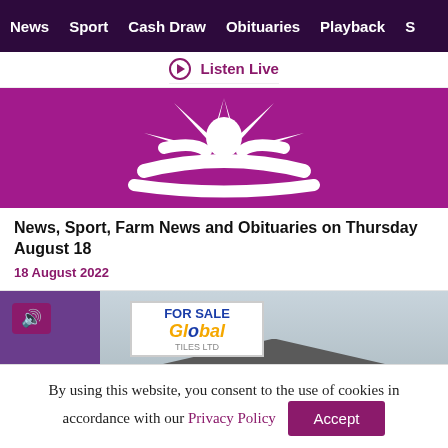News | Sport | Cash Draw | Obituaries | Playback | S
▶ Listen Live
[Figure (logo): Purple background with white stylized open-book or person with arms out logo]
News, Sport, Farm News and Obituaries on Thursday August 18
18 August 2022
[Figure (photo): FOR SALE sign with Global logo on a house background, with audio badge overlay]
By using this website, you consent to the use of cookies in accordance with our Privacy Policy  Accept